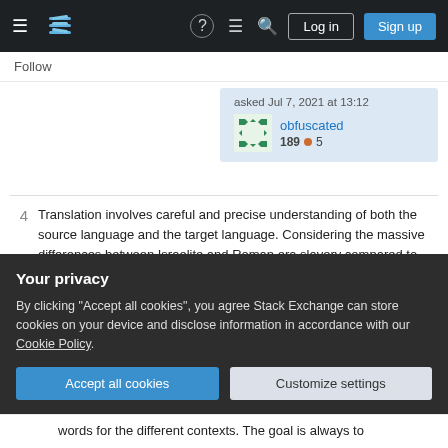Stack Exchange navigation bar with Log in and Sign up buttons
Follow
asked Jul 7, 2021 at 13:12
obfuscated 189 ● 5
4  Translation involves careful and precise understanding of both the source language and the target language. Considering the massive differences between Israelite and Roman era slavery compared to the trans-Atlantic slavery most modern readers are more familiar with, it's natural for Bible translators to question whether "slave" in English is actually an accurate translation for anyone who isn't an
Your privacy
By clicking "Accept all cookies", you agree Stack Exchange can store cookies on your device and disclose information in accordance with our Cookie Policy.
Accept all cookies  Customize settings
words for the different contexts. The goal is always to